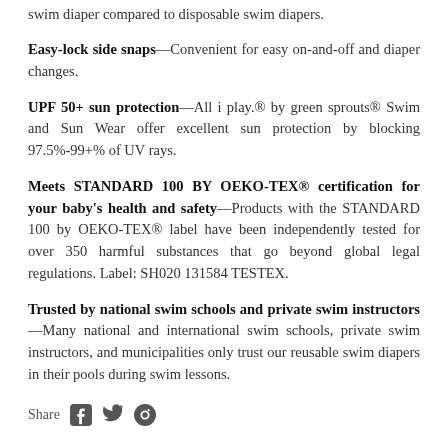swim diaper compared to disposable swim diapers.
Easy-lock side snaps—Convenient for easy on-and-off and diaper changes.
UPF 50+ sun protection—All i play.® by green sprouts® Swim and Sun Wear offer excellent sun protection by blocking 97.5%-99+% of UV rays.
Meets STANDARD 100 BY OEKO-TEX® certification for your baby's health and safety—Products with the STANDARD 100 by OEKO-TEX® label have been independently tested for over 350 harmful substances that go beyond global legal regulations. Label: SH020 131584 TESTEX.
Trusted by national swim schools and private swim instructors—Many national and international swim schools, private swim instructors, and municipalities only trust our reusable swim diapers in their pools during swim lessons.
Share